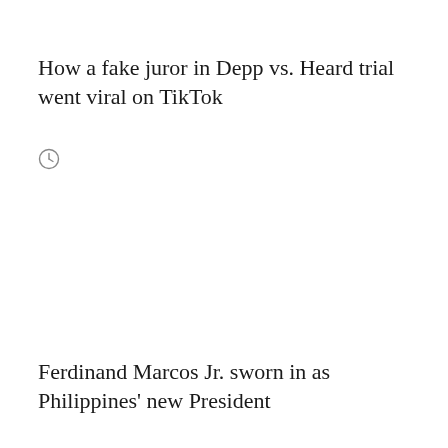How a fake juror in Depp vs. Heard trial went viral on TikTok
[Figure (other): Clock/time icon]
Ferdinand Marcos Jr. sworn in as Philippines' new President